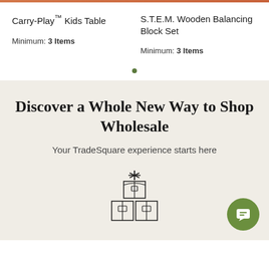Carry-Play™ Kids Table
S.T.E.M. Wooden Balancing Block Set
Minimum: 3 Items
Minimum: 3 Items
Discover a Whole New Way to Shop Wholesale
Your TradeSquare experience starts here
[Figure (illustration): Line illustration of stacked shipping boxes with a sparkle/star above them]